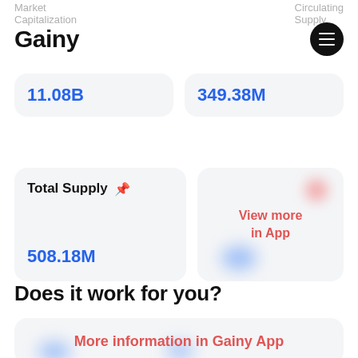Market Capitalization
Circulating Supply
Gainy
11.08B
349.38M
Total Supply
508.18M
[Figure (infographic): Blurred card with 'View more in App' text overlay and colored blur blobs]
Does it work for you?
[Figure (infographic): Blurred bottom card with 'More information in Gainy App' text]